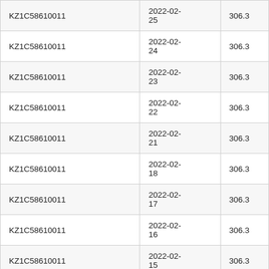| KZ1C58610011 | 2022-02-25 | 306.3 |
| KZ1C58610011 | 2022-02-24 | 306.3 |
| KZ1C58610011 | 2022-02-23 | 306.3 |
| KZ1C58610011 | 2022-02-22 | 306.3 |
| KZ1C58610011 | 2022-02-21 | 306.3 |
| KZ1C58610011 | 2022-02-18 | 306.3 |
| KZ1C58610011 | 2022-02-17 | 306.3 |
| KZ1C58610011 | 2022-02-16 | 306.3 |
| KZ1C58610011 | 2022-02-15 | 306.3 |
| KZ1C58610011 | 2022-02-14 | 306.3 |